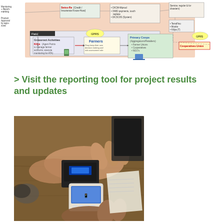[Figure (flowchart): Agricultural technology system diagram showing Grassroot Activities with Kiliya Agent Points managing farmer accounts, Farmers making decisions and risk assessments, Primary Coops Aggregators/Retailers including Farmer Unions, Cooperatives, NGOs, connected to Cooperatives Union via GPRS, with Swiss-Re Credit/Insurance Know-How and DICM/OMID/DICSCIIS systems shown.]
> Visit the reporting tool for project results and updates
[Figure (photo): Close-up photograph of hands using a mobile phone and fingerprint scanner device on a wooden table, appearing to demonstrate biometric mobile banking or identification technology.]